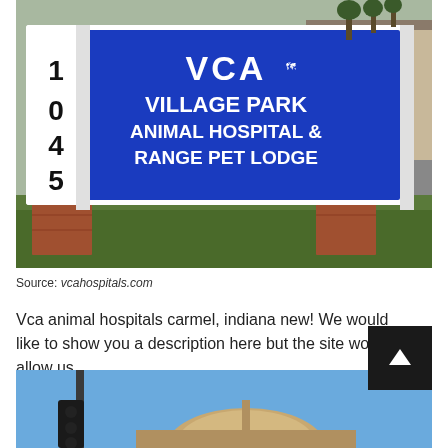[Figure (photo): Photo of VCA Village Park Animal Hospital & Range Pet Lodge sign mounted on a brick base with the number 1045 on the left side. Blue rectangular sign with white text reading VCA VILLAGE PARK ANIMAL HOSPITAL & RANGE PET LODGE. Building and parking lot visible in background.]
Source: vcahospitals.com
Vca animal hospitals carmel, indiana new! We would like to show you a description here but the site won't allow us.
[Figure (photo): Partial photo showing traffic lights and a dome-shaped structure against a blue sky.]